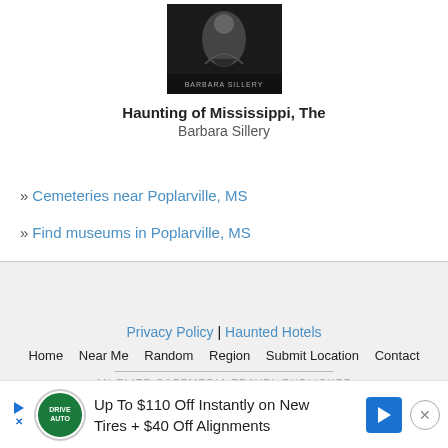[Figure (photo): Book cover for 'Haunting of Mississippi, The' by Barbara Sillery - dark cover with figure]
Haunting of Mississippi, The
Barbara Sillery
» Cemeteries near Poplarville, MS
» Find museums in Poplarville, MS
Privacy Policy | Haunted Hotels
Home  Near Me  Random  Region  Submit Location  Contact
AN ELITE CAFEMEDIA TRAVEL PUBLISHER
[Figure (other): Advertisement banner: Up To $110 Off Instantly on New Tires + $40 Off Alignments - Tires Plus/DriveAuto ad]